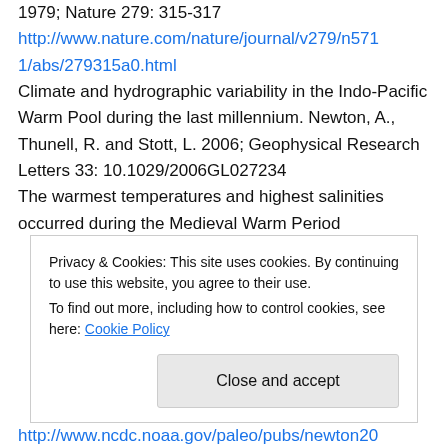1979; Nature 279: 315-317
http://www.nature.com/nature/journal/v279/n5711/abs/279315a0.html
Climate and hydrographic variability in the Indo-Pacific Warm Pool during the last millennium. Newton, A., Thunell, R. and Stott, L. 2006; Geophysical Research Letters 33: 10.1029/2006GL027234
The warmest temperatures and highest salinities occurred during the Medieval Warm Period
Privacy & Cookies: This site uses cookies. By continuing to use this website, you agree to their use.
To find out more, including how to control cookies, see here: Cookie Policy
Close and accept
http://www.ncdc.noaa.gov/paleo/pubs/newton20...